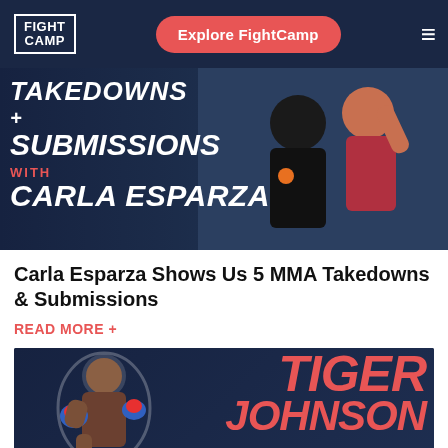FIGHT CAMP | Explore FightCamp
[Figure (photo): Promotional banner for 'Takedowns + Submissions with Carla Esparza' featuring two women posing, one in a FightCamp shirt and one in a red sports top, against a dark blue background with bold white text.]
Carla Esparza Shows Us 5 MMA Takedowns & Submissions
READ MORE +
[Figure (photo): Promotional banner for Tiger Johnson featuring a male boxer with blue and red gloves on a dark navy background with large red 'TIGER JOHNSON' text.]